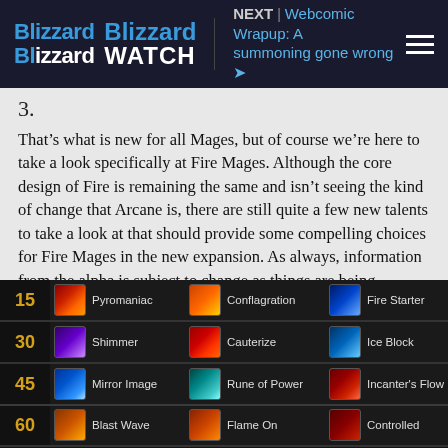Blizzard WATCH | NEXT | Webcomic Wrapup: A summoning gone wrong >
3.
That's what is new for all Mages, but of course we're here to take a look specifically at Fire Mages. Although the core design of Fire is remaining the same and isn't seeing the kind of change that Arcane is, there are still quite a few new talents to take a look at that should provide some compelling choices for Fire Mages in the new expansion. As always, information from the alpha is subject to change as things are being constantly refined.
[Figure (screenshot): World of Warcraft Fire Mage talent table showing rows for levels 15, 30, 45, and partially 60. Row 15: Pyromaniac, Conflagration, Fire Starter. Row 30: Shimmer, Cauterize, Ice Block. Row 45: Mirror Image, Rune of Power, Incanter's Flow. Row 60: Blast Wave, Flame On, Controlled (partially visible).]